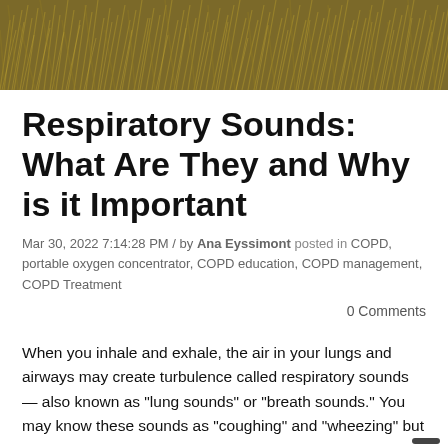[Figure (photo): Overhead photo of dry golden-yellow grass or reeds filling the banner area]
Respiratory Sounds: What Are They and Why is it Important
Mar 30, 2022 7:14:28 PM / by Ana Eyssimont posted in COPD, portable oxygen concentrator, COPD education, COPD management, COPD Treatment
0 Comments
When you inhale and exhale, the air in your lungs and airways may create turbulence called respiratory sounds — also known as "lung sounds" or "breath sounds." You may know these sounds as "coughing" and "wheezing" but...